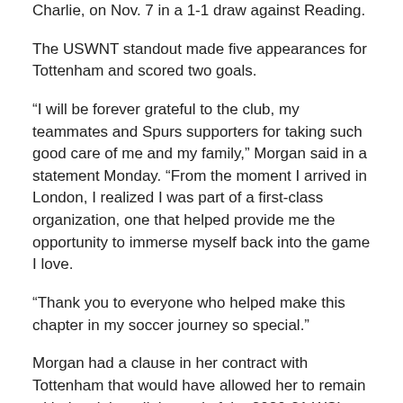Charlie, on Nov. 7 in a 1-1 draw against Reading.
The USWNT standout made five appearances for Tottenham and scored two goals.
“I will be forever grateful to the club, my teammates and Spurs supporters for taking such good care of me and my family,” Morgan said in a statement Monday. “From the moment I arrived in London, I realized I was part of a first-class organization, one that helped provide me the opportunity to immerse myself back into the game I love.
“Thank you to everyone who helped make this chapter in my soccer journey so special.”
Morgan had a clause in her contract with Tottenham that would have allowed her to remain with the club until the end of the 2020-21 WSL season. The 31-year-old Morgan, however, said